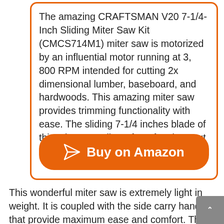The amazing CRAFTSMAN V20 7-1/4-Inch Sliding Miter Saw Kit (CMCS714M1) miter saw is motorized by an influential motor running at 3, 800 RPM intended for cutting 2x dimensional lumber, baseboard, and hardwoods. This amazing miter saw provides trimming functionality with ease. The sliding 7-1/4 inches blade of this miter saw allows for a fractious cut capacity of up to 8 in.
[Figure (other): Orange rounded rectangle 'Buy on Amazon' button with a paper airplane send icon on the left]
This wonderful miter saw is extremely light in weight. It is coupled with the side carry handles that provide maximum ease and comfort. The LED light of this miter saw helps in eliminating shadows and endows with an easy and precise Cutline to